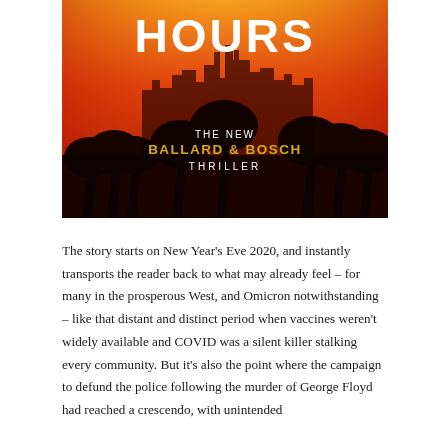[Figure (illustration): Book cover for a thriller novel. Red/orange gradient sky over a silhouetted Los Angeles skyline with tall palm trees in the foreground. Large white bold text reads 'HOURS' at the top. Below center in white: 'THE NEW', then in gold/yellow bold: 'BALLARD & BOSCH', then in white: 'THRILLER'.]
The story starts on New Year's Eve 2020, and instantly transports the reader back to what may already feel – for many in the prosperous West, and Omicron notwithstanding – like that distant and distinct period when vaccines weren't widely available and COVID was a silent killer stalking every community. But it's also the point where the campaign to defund the police following the murder of George Floyd had reached a crescendo, with unintended